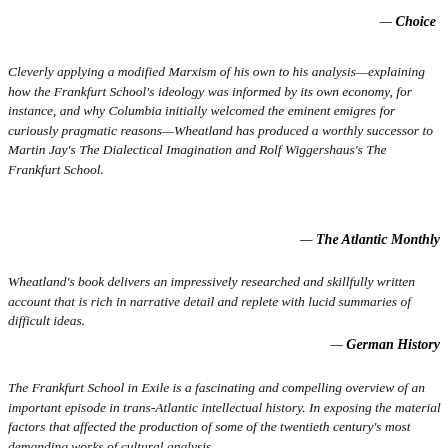— Choice
Cleverly applying a modified Marxism of his own to his analysis—explaining how the Frankfurt School's ideology was informed by its own economy, for instance, and why Columbia initially welcomed the eminent emigres for curiously pragmatic reasons—Wheatland has produced a worthly successor to Martin Jay's The Dialectical Imagination and Rolf Wiggershaus's The Frankfurt School.
— The Atlantic Monthly
Wheatland's book delivers an impressively researched and skillfully written account that is rich in narrative detail and replete with lucid summaries of difficult ideas.
— German History
The Frankfurt School in Exile is a fascinating and compelling overview of an important episode in trans-Atlantic intellectual history. In exposing the material factors that affected the production of some of the twentieth century's most demanding works of cultural analysis,